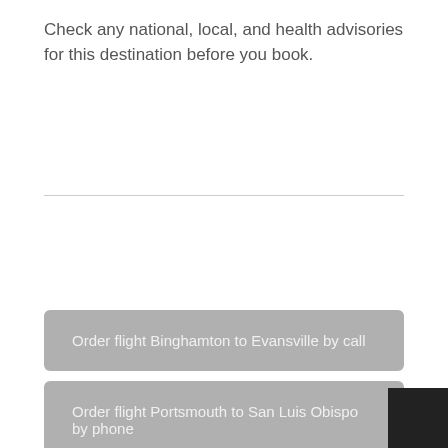Check any national, local, and health advisories for this destination before you book.
Order flight Binghamton to Evansville by call
Order flight Portsmouth to San Luis Obispo by phone
Cancellation flight from MGW to DLH by phone
Cancel ticket flight Bloomington to Lubbock by phone
Change flight from MSN to ITH by phone
Cancel flight Allentown to Farmingdale by phone